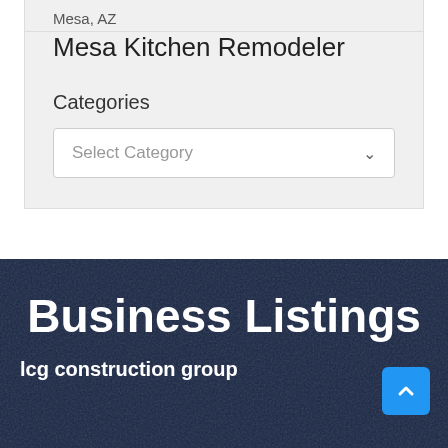Mesa, AZ
Mesa Kitchen Remodeler
Categories
Select Category
Business Listings
lcg construction group